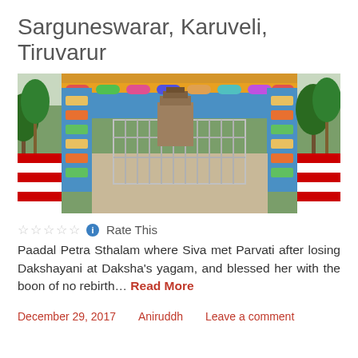Sarguneswarar, Karuveli, Tiruvarur
[Figure (photo): Photograph of the temple entrance gate with colorful gopuram arch, metal gates visible in background, palm trees on both sides, and a temple tower visible in the distance. Red and white striped walls on the sides.]
Rate This
Paadal Petra Sthalam where Siva met Parvati after losing Dakshayani at Daksha's yagam, and blessed her with the boon of no rebirth… Read More
December 29, 2017    Aniruddh    Leave a comment